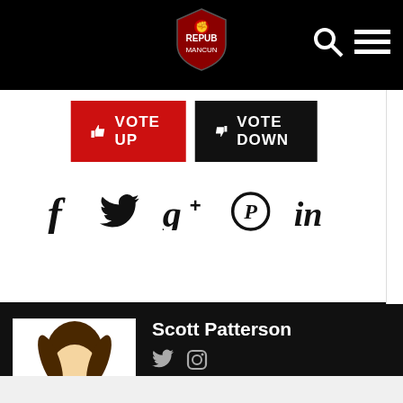[Figure (screenshot): Navigation bar with logo, search icon, and menu icon on black background]
[Figure (infographic): Vote Up (red button) and Vote Down (black button) interactive voting buttons]
[Figure (infographic): Social sharing icons: Facebook (f), Twitter, Google+, Pinterest, LinkedIn]
[Figure (illustration): Cartoon avatar of Scott Patterson wearing a graphic t-shirt]
Scott Patterson
Scott is the editor of RoM and has a season ticket at Old Trafford. He started The Republik of Mancunia in March 2006. Follow @R_o_M on Twitter or @R_o_M7 on Instagram.